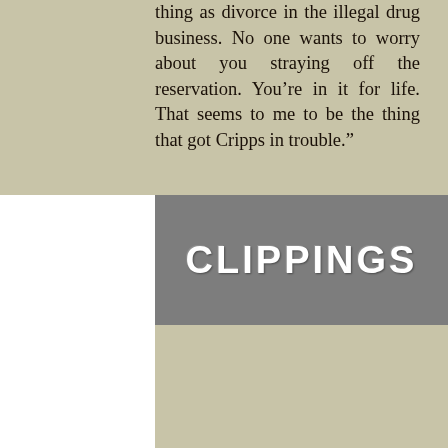thing as divorce in the illegal drug business. No one wants to worry about you straying off the reservation. You’re in it for life. That seems to me to be the thing that got Cripps in trouble.”
CLIPPINGS